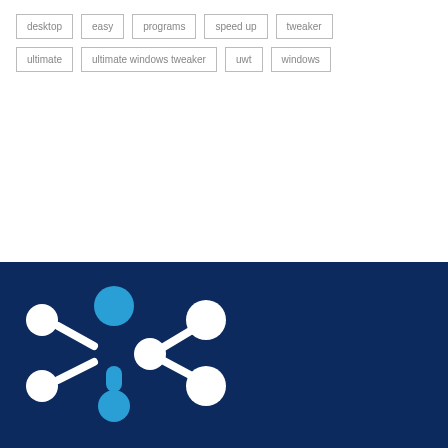desktop
easy
programs
speed up
tweaker
ultimate
ultimate windows tweaker
uwt
windows
[Figure (logo): Network/people icon logo in white and blue on dark navy background]